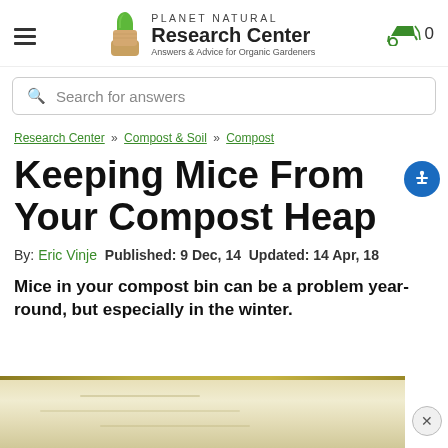Planet Natural Research Center — Answers & Advice for Organic Gardeners
Search for answers
Research Center » Compost & Soil » Compost
Keeping Mice From Your Compost Heap
By: Eric Vinje  Published: 9 Dec, 14  Updated: 14 Apr, 18
Mice in your compost bin can be a problem year-round, but especially in the winter.
[Figure (photo): Bottom portion of a webpage showing the top edge of a photo, a tan/beige outdoor scene, with a close (x) button in the bottom right corner.]